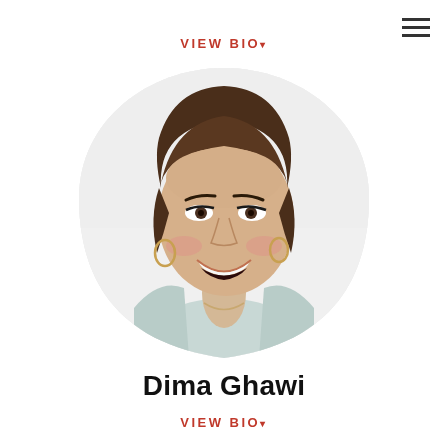VIEW BIO▾
[Figure (photo): Portrait photo of Dima Ghawi, a smiling woman with short dark hair, wearing a light teal sleeveless top and hoop earrings, photographed against a white background. The image is cropped in a rounded rectangle/pill shape.]
Dima Ghawi
VIEW BIO▾